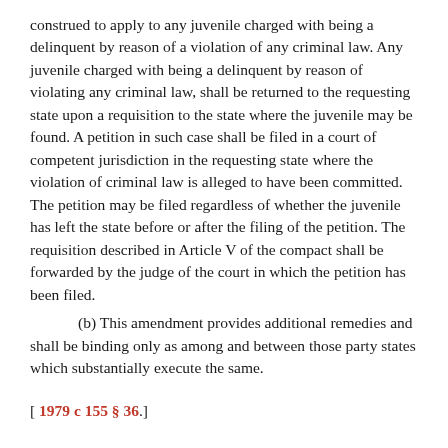construed to apply to any juvenile charged with being a delinquent by reason of a violation of any criminal law. Any juvenile charged with being a delinquent by reason of violating any criminal law, shall be returned to the requesting state upon a requisition to the state where the juvenile may be found. A petition in such case shall be filed in a court of competent jurisdiction in the requesting state where the violation of criminal law is alleged to have been committed. The petition may be filed regardless of whether the juvenile has left the state before or after the filing of the petition. The requisition described in Article V of the compact shall be forwarded by the judge of the court in which the petition has been filed.

(b) This amendment provides additional remedies and shall be binding only as among and between those party states which substantially execute the same.
[ 1979 c 155 § 36.]
NOTES